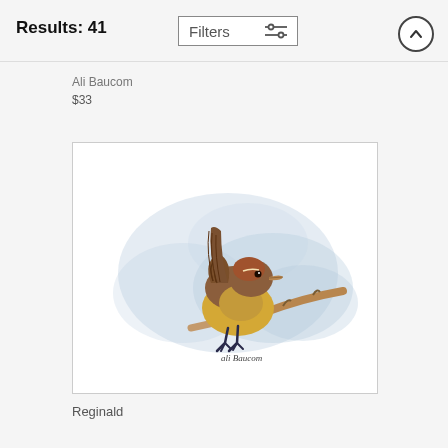Results: 41
Ali Baucom
$33
[Figure (illustration): Watercolor painting of a small brown and yellow bird (wren) perched on a branch, with blue watercolor wash background. Signed 'ali baucom' in script at the bottom.]
Reginald